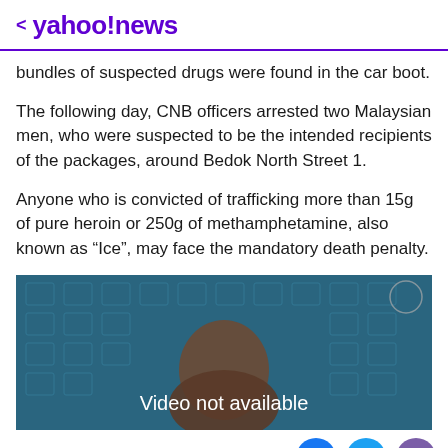< yahoo!news
bundles of suspected drugs were found in the car boot.
The following day, CNB officers arrested two Malaysian men, who were suspected to be the intended recipients of the packages, around Bedok North Street 1.
Anyone who is convicted of trafficking more than 15g of pure heroin or 250g of methamphetamine, also known as “Ice”, may face the mandatory death penalty.
[Figure (screenshot): Video player showing 'Video not available' message with a blurred background image of a person's head against a teal/blue patterned backdrop.]
Social share buttons: Facebook, Twitter, Email